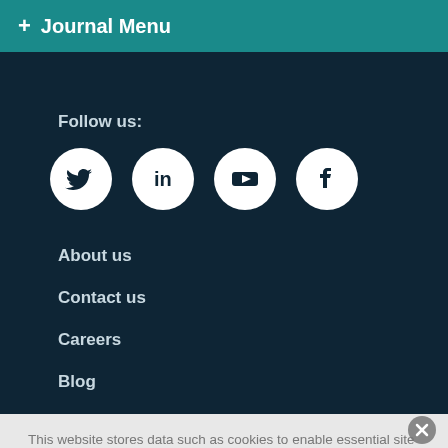+ Journal Menu
Follow us:
[Figure (infographic): Four social media icon circles: Twitter, LinkedIn, YouTube, Facebook]
About us
Contact us
Careers
Blog
This website stores data such as cookies to enable essential site functionality, as well as marketing, personalization, and analytics. By remaining on this website you indicate your consent. Cookie Policy